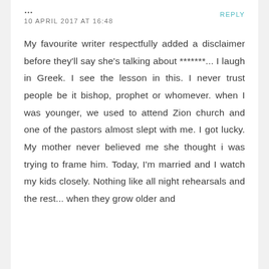10 APRIL 2017 AT 16:48
My favourite writer respectfully added a disclaimer before they'll say she's talking about *******... I laugh in Greek. I see the lesson in this. I never trust people be it bishop, prophet or whomever. when I was younger, we used to attend Zion church and one of the pastors almost slept with me. I got lucky. My mother never believed me she thought i was trying to frame him. Today, I'm married and I watch my kids closely. Nothing like all night rehearsals and the rest... when they grow older and